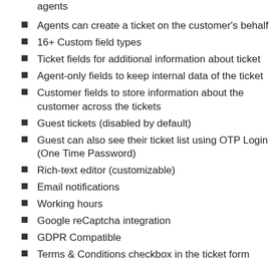agents
Agents can create a ticket on the customer's behalf
16+ Custom field types
Ticket fields for additional information about ticket
Agent-only fields to keep internal data of the ticket
Customer fields to store information about the customer across the tickets
Guest tickets (disabled by default)
Guest can also see their ticket list using OTP Login (One Time Password)
Rich-text editor (customizable)
Email notifications
Working hours
Google reCaptcha integration
GDPR Compatible
Terms & Conditions checkbox in the ticket form